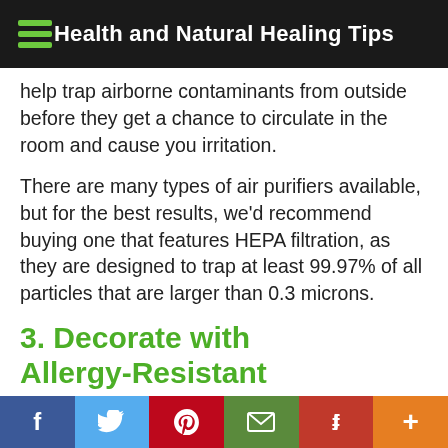Health and Natural Healing Tips
help trap airborne contaminants from outside before they get a chance to circulate in the room and cause you irritation.
There are many types of air purifiers available, but for the best results, we'd recommend buying one that features HEPA filtration, as they are designed to trap at least 99.97% of all particles that are larger than 0.3 microns.
3. Decorate with Allergy-Resistant
f  Twitter  Pinterest  Email  Flipboard  +